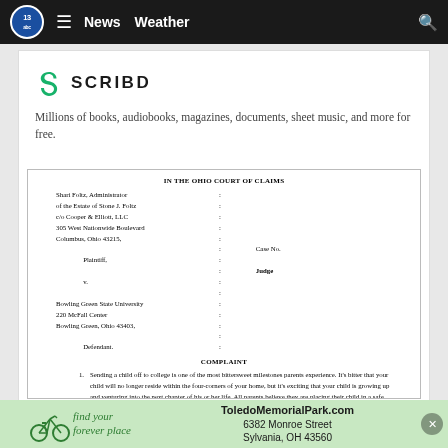13abc | News | Weather
[Figure (logo): Scribd logo with S icon and SCRIBD wordmark]
Millions of books, audiobooks, magazines, documents, sheet music, and more for free.
IN THE OHIO COURT OF CLAIMS
| Shari Foltz, Administrator | : |
| of the Estate of Stone J. Foltz | : |
| c/o Cooper & Elliott, LLC | : |
| 305 West Nationwide Boulevard | : |
| Columbus, Ohio 43215, | : |
|  | :  Case No. |
| Plaintiff, | : |
|  | :  Judge |
| v. | : |
|  | : |
| Bowling Green State University | : |
| 220 McFall Center | : |
| Bowling Green, Ohio 43403, | : |
|  | : |
| Defendant. | : |
COMPLAINT
1.  Sending a child off to college is one of the most bittersweet milestones parents experience. It's bitter that your child will no longer reside within the four-corners of your home, but it's exciting that your child is growing up and venturing into the next chapter of his or her life. All parents believe they are placing their child in a safe, secure, and healthy environment. And no parent expects a late-night call or knock at the door with news that their
[Figure (infographic): Toledo Memorial Park advertisement with bicycle illustration, cursive text 'find your forever place', address 6382 Monroe Street, Sylvania OH 43560 and ToledoMemorialPark.com]